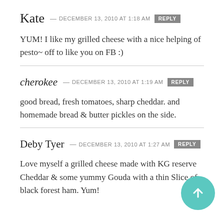Kate — DECEMBER 13, 2010 at 1:18 AM  REPLY
YUM! I like my grilled cheese with a nice helping of pesto~ off to like you on FB :)
cherokee — DECEMBER 13, 2010 at 1:19 AM  REPLY
good bread, fresh tomatoes, sharp cheddar. and homemade bread & butter pickles on the side.
Deby Tyer — DECEMBER 13, 2010 at 1:27 AM  REPLY
Love myself a grilled cheese made with KG reserve Cheddar & some yummy Gouda with a thin Slice of black forest ham. Yum!